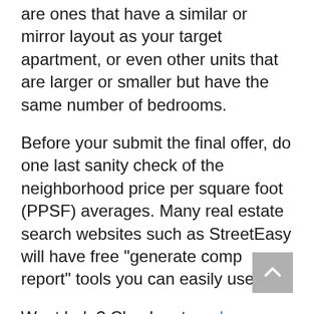are ones that have a similar or mirror layout as your target apartment, or even other units that are larger or smaller but have the same number of bedrooms.
Before your submit the final offer, do one last sanity check of the neighborhood price per square foot (PPSF) averages. Many real estate search websites such as StreetEasy will have free "generate comp report" tools you can easily use.
Want help? Check out our home pricing guide for FSBO sellers which will be equally useful for buyers about to participate in a best and final offer process.